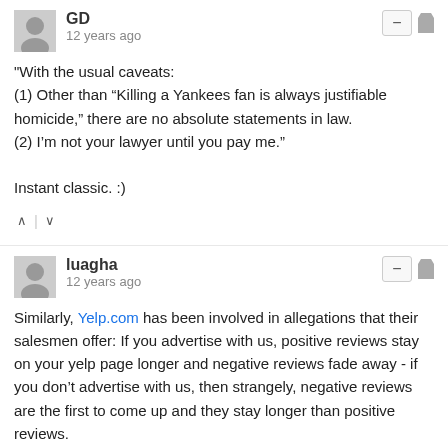GD
12 years ago
"With the usual caveats:
(1) Other than “Killing a Yankees fan is always justifiable homicide,” there are no absolute statements in law.
(2) I’m not your lawyer until you pay me."

Instant classic. :)
luagha
12 years ago
Similarly, Yelp.com has been involved in allegations that their salesmen offer: If you advertise with us, positive reviews stay on your yelp page longer and negative reviews fade away - if you don't advertise with us, then strangely, negative reviews are the first to come up and they stay longer than positive reviews.
David M. Nieporent
12 years ago